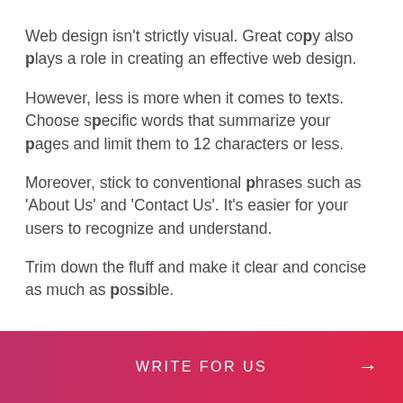Web design isn't strictly visual. Great copy also plays a role in creating an effective web design.
However, less is more when it comes to texts. Choose specific words that summarize your pages and limit them to 12 characters or less.
Moreover, stick to conventional phrases such as 'About Us' and 'Contact Us'. It's easier for your users to recognize and understand.
Trim down the fluff and make it clear and concise as much as possible.
WRITE FOR US